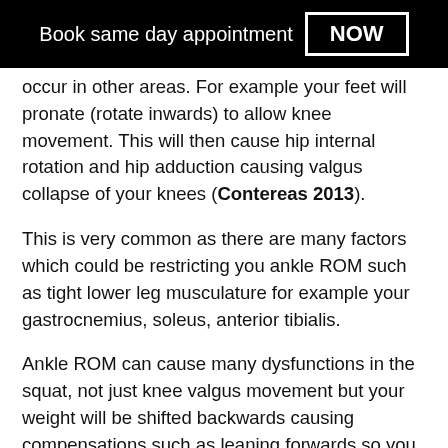Book same day appointment NOW
occur in other areas. For example your feet will pronate (rotate inwards) to allow knee movement. This will then cause hip internal rotation and hip adduction causing valgus collapse of your knees (Contereas 2013).
This is very common as there are many factors which could be restricting you ankle ROM such as tight lower leg musculature for example your gastrocnemius, soleus, anterior tibialis.
Ankle ROM can cause many dysfunctions in the squat, not just knee valgus movement but your weight will be shifted backwards causing compensations such as leaning forwards so you don't fall backwards (Cecil 2014).